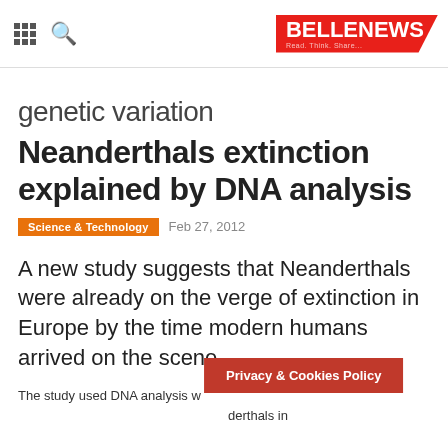BELLENEWS Read. Think. Share...
genetic variation
Neanderthals extinction explained by DNA analysis
Science & Technology   Feb 27, 2012
A new study suggests that Neanderthals were already on the verge of extinction in Europe by the time modern humans arrived on the scene.
The study used DNA analysis w...derthals in
Privacy & Cookies Policy